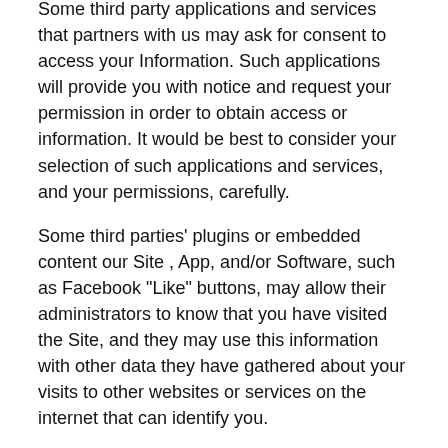Some third party applications and services that partners with us may ask for consent to access your Information. Such applications will provide you with notice and request your permission in order to obtain access or information. It would be best to consider your selection of such applications and services, and your permissions, carefully.
Some third parties' plugins or embedded content our Site , App, and/or Software, such as Facebook "Like" buttons, may allow their administrators to know that you have visited the Site, and they may use this information with other data they have gathered about your visits to other websites or services on the internet that can identify you.
The data collected by third parties through these plugins and applications is subject to each parties' own policies. We strongly encourage you to read those policies carefully and understand how other entities use your data.
Will VERZEX™ SEO Tools send me email notifications?
There will be times when we may send you information about special offers, software updates, and other product announcements. We